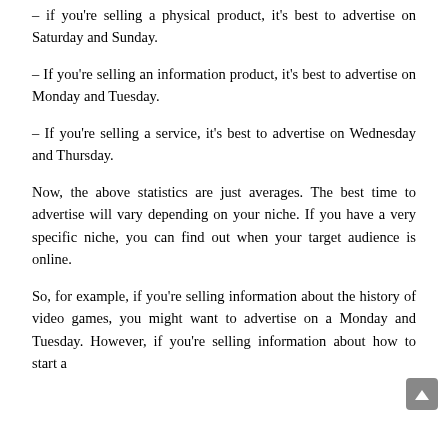- If you're selling a physical product, it's best to advertise on Saturday and Sunday.
- If you're selling an information product, it's best to advertise on Monday and Tuesday.
- If you're selling a service, it's best to advertise on Wednesday and Thursday.
Now, the above statistics are just averages. The best time to advertise will vary depending on your niche. If you have a very specific niche, you can find out when your target audience is online.
So, for example, if you're selling information about the history of video games, you might want to advertise on a Monday and Tuesday. However, if you're selling information about how to start a